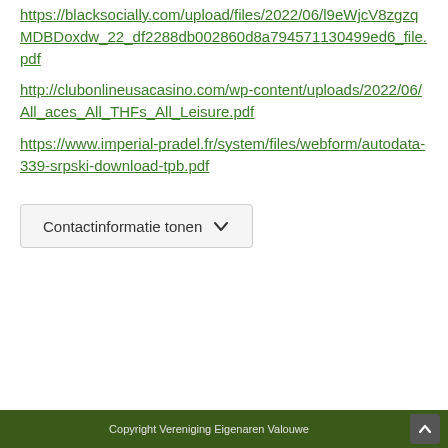https://blacksocially.com/upload/files/2022/06/l9eWjcV8zgzqMDBDoxdw_22_df2288db002860d8a794571130499ed6_file.pdf
http://clubonlineusacasino.com/wp-content/uploads/2022/06/All_aces_All_THFs_All_Leisure.pdf
https://www.imperial-pradel.fr/system/files/webform/autodata-339-srpski-download-tpb.pdf
Contactinformatie tonen
Copyright Vereniging Eigenaren Valouwe